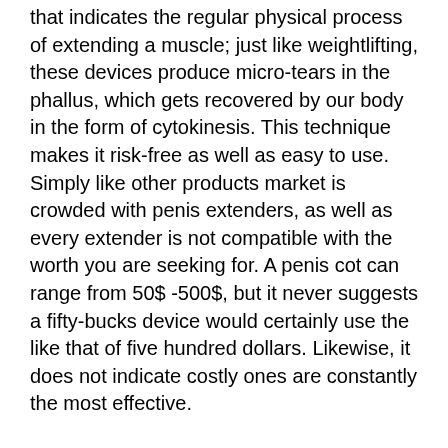that indicates the regular physical process of extending a muscle; just like weightlifting, these devices produce micro-tears in the phallus, which gets recovered by our body in the form of cytokinesis. This technique makes it risk-free as well as easy to use. Simply like other products market is crowded with penis extenders, as well as every extender is not compatible with the worth you are seeking for. A penis cot can range from 50$ -500$, but it never suggests a fifty-bucks device would certainly use the like that of five hundred dollars. Likewise, it does not indicate costly ones are constantly the most effective.
Why Do People Make Fun Of Small Penis